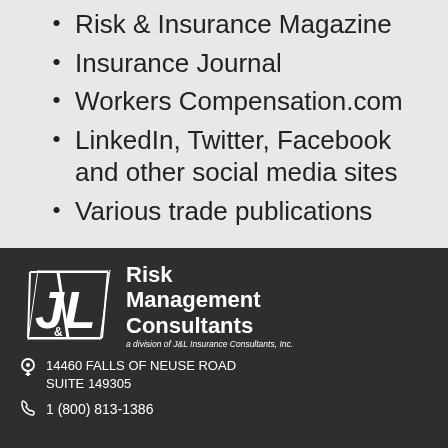Risk & Insurance Magazine
Insurance Journal
Workers Compensation.com
LinkedIn, Twitter, Facebook and other social media sites
Various trade publications
[Figure (logo): J&L Risk Management Consultants logo with stylized J&L letters and text 'a division of J&L Insurance Consultants, Inc.']
14460 FALLS OF NEUSE ROAD SUITE 149305
1 (800) 813-1386